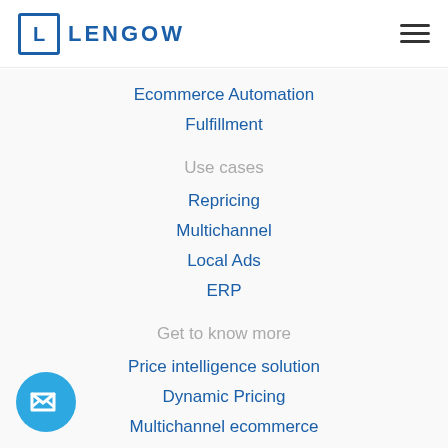LENGOW
Ecommerce Automation
Fulfillment
Use cases
Repricing
Multichannel
Local Ads
ERP
Get to know more
Price intelligence solution
Dynamic Pricing
Multichannel ecommerce
Shopping feed management